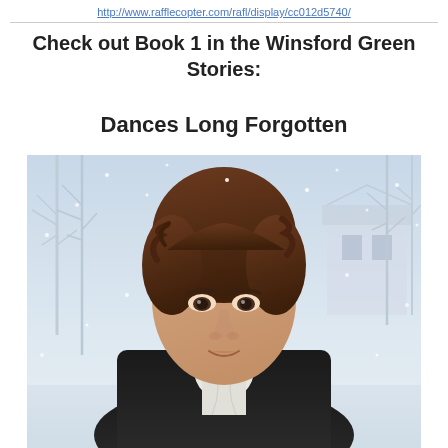http://www.rafflecopter.com/rafl/display/cc012d5740/
Check out Book 1 in the Winsford Green Stories:
Dances Long Forgotten
[Figure (photo): Book cover photo showing a young man with brown curly hair wearing a dark coat and white cravat, standing in a snowy winter scene with bare trees and a building in the background, snowflakes falling.]